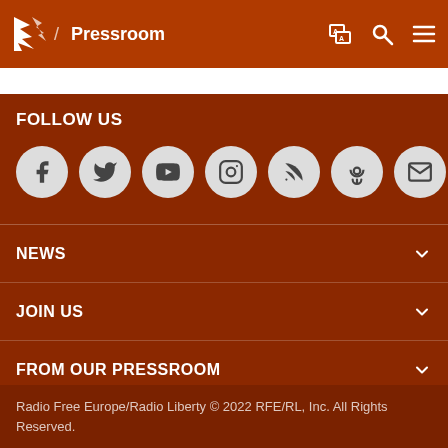/ Pressroom
FOLLOW US
[Figure (other): Social media icon buttons: Facebook, Twitter, YouTube, Instagram, RSS, Podcast, Email]
NEWS
JOIN US
FROM OUR PRESSROOM
ABOUT
Radio Free Europe/Radio Liberty © 2022 RFE/RL, Inc. All Rights Reserved.